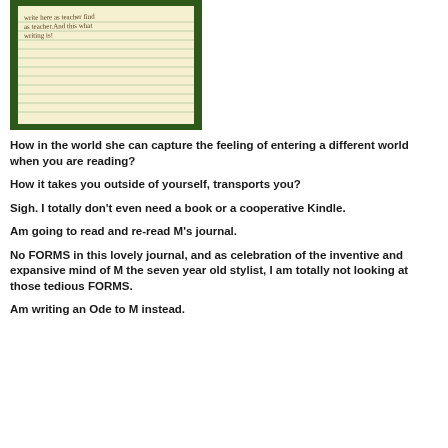[Figure (photo): A photograph of a child's handwritten journal or notebook with lined yellow paper and a green border, showing handwritten text in pencil.]
How in the world she can capture the feeling of entering a different world when you are reading?
How it takes you outside of yourself, transports you?
Sigh. I totally don't even need a book or a cooperative Kindle.
Am going to read and re-read M's journal.
No FORMS in this lovely journal, and as celebration of the inventive and expansive mind of M the seven year old stylist, I am totally not looking at those tedious FORMS.
Am writing an Ode to M instead.